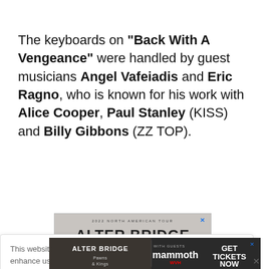The keyboards on "Back With A Vengeance" were handled by guest musicians Angel Vafeiadis and Eric Ragno, who is known for his work with Alice Cooper, Paul Stanley (KISS) and Billy Gibbons (ZZ TOP).
[Figure (screenshot): Advertisement banner for Alter Bridge 2022 North American Tour, showing the band name in large stone-textured letters]
This website uses cookies and other tracking technologies to enhance user experience and to analyze performance and traffic on our website. Information about your use of our site may also be shared with social media, advertising, retail and analytics providers and partners. Privacy Policy
[Figure (screenshot): Bottom advertisement banner for Alter Bridge - Pawns & Kings tour with Mammoth WVH, Get Tickets Now]